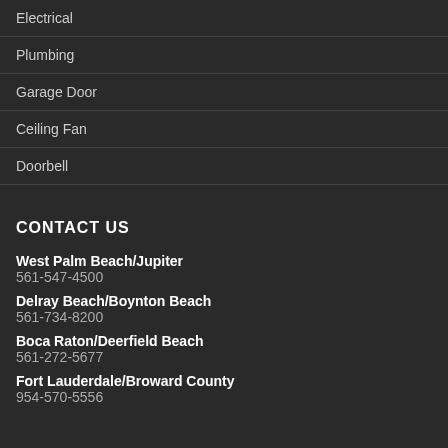Electrical
Plumbing
Garage Door
Ceiling Fan
Doorbell
CONTACT US
West Palm Beach/Jupiter
561-547-4500
Delray Beach/Boynton Beach
561-734-8200
Boca Raton/Deerfield Beach
561-272-5677
Fort Lauderdale/Broward County
954-570-5556